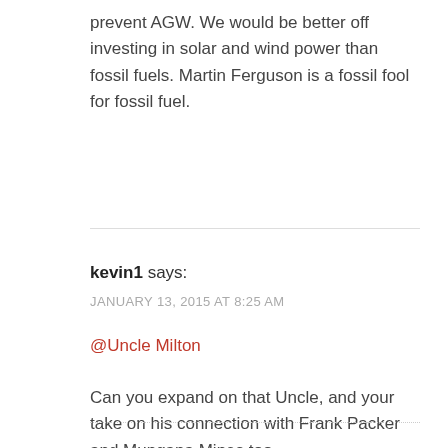prevent AGW. We would be better off investing in solar and wind power than fossil fuels. Martin Ferguson is a fossil fool for fossil fuel.
kevin1 says:
JANUARY 13, 2015 AT 8:25 AM
@Uncle Milton
Can you expand on that Uncle, and your take on his connection with Frank Packer and Mungana Mines too.